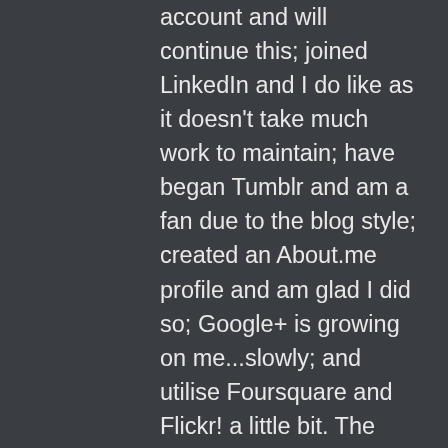account and will continue this; joined LinkedIn and I do like as it doesn't take much work to maintain; have began Tumblr and am a fan due to the blog style; created an About.me profile and am glad I did so; Google+ is growing on me...slowly; and utilise Foursquare and Flickr! a little bit. The plan is to continue with the new additions for a while...some will stay for good and perhaps one or two will drop off. Should be an interesting 2012. I also have a website under development but I think I'll drop this due to time and the growth in mobile platforms (my website was never going to be available on a mobile platform). And I think Tumblr can do